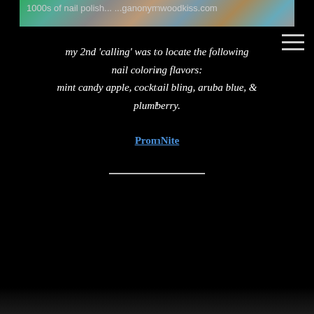[Figure (photo): Partial image of nail polish bottles/products on a surface, with text overlay showing '1000s of nail polish... ...ganonymwoodkiss.com']
my 2nd 'calling' was to locate the following nail coloring flavors: mint candy apple, cocktail bling, aruba blue, & plumberry.
PromNite
—